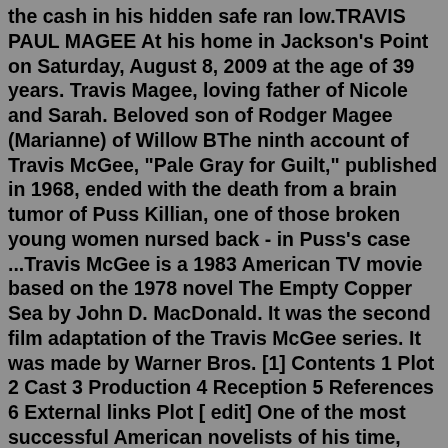the cash in his hidden safe ran low.TRAVIS PAUL MAGEE At his home in Jackson's Point on Saturday, August 8, 2009 at the age of 39 years. Travis Magee, loving father of Nicole and Sarah. Beloved son of Rodger Magee (Marianne) of Willow BThe ninth account of Travis McGee, "Pale Gray for Guilt," published in 1968, ended with the death from a brain tumor of Puss Killian, one of those broken young women nursed back - in Puss's case ...Travis McGee is a 1983 American TV movie based on the 1978 novel The Empty Copper Sea by John D. MacDonald. It was the second film adaptation of the Travis McGee series. It was made by Warner Bros. [1] Contents 1 Plot 2 Cast 3 Production 4 Reception 5 References 6 External links Plot [ edit] One of the most successful American novelists of his time, MacDonald sold an estimated 70 million books. [1] His best-known works include the popular and critically acclaimed Travis McGee series and his 1957 novel The Executioners, which was filmed as Cape Fear (1962) and remade in 1991. Contents 1 Early life 2 Writing career 2.1 Early